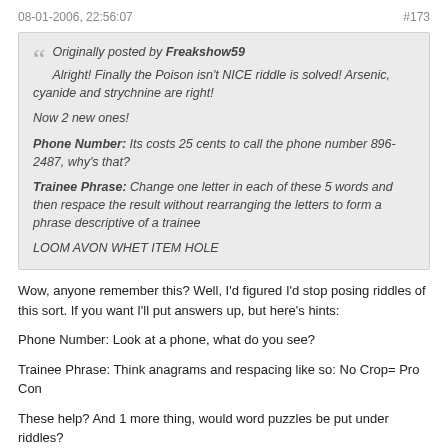08-01-2006, 22:56:07    #173
Originally posted by Freakshow59
Alright! Finally the Poison isn't NICE riddle is solved! Arsenic, cyanide and strychnine are right!

Now 2 new ones!

Phone Number: Its costs 25 cents to call the phone number 896-2487, why's that?

Trainee Phrase: Change one letter in each of these 5 words and then respace the result without rearranging the letters to form a phrase descriptive of a trainee

LOOM AVON WHET ITEM HOLE
Wow, anyone remember this? Well, I'd figured I'd stop posing riddles of this sort. If you want I'll put answers up, but here's hints:
Phone Number: Look at a phone, what do you see?
Trainee Phrase: Think anagrams and respacing like so: No Crop= Pro Con
These help? And 1 more thing, would word puzzles be put under riddles?